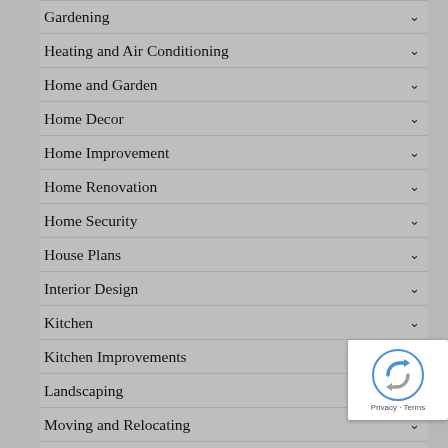Gardening
Heating and Air Conditioning
Home and Garden
Home Decor
Home Improvement
Home Renovation
Home Security
House Plans
Interior Design
Kitchen
Kitchen Improvements
Landscaping
Moving and Relocating
Pest Control
Plumbing
Remodeling